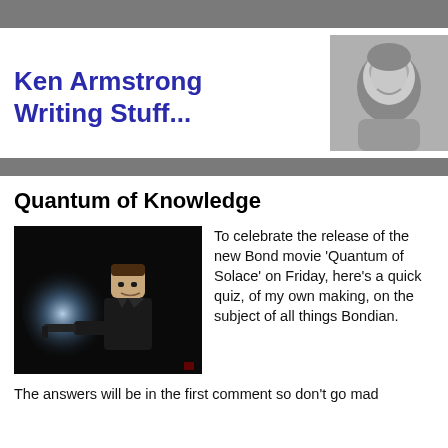Ken Armstrong Writing Stuff...
[Figure (photo): Black and white portrait photo of a smiling man]
Quantum of Knowledge
[Figure (photo): LEGO figure dressed in black holding a gun against a dark background with a bright light behind]
To celebrate the release of the new Bond movie 'Quantum of Solace' on Friday, here's a quick quiz, of my own making, on the subject of all things Bondian.
The answers will be in the first comment so don't go mad